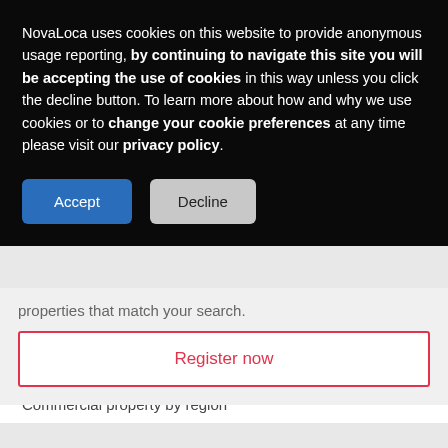NovaLoca uses cookies on this website to provide anonymous usage reporting, by continuing to navigate this site you will be accepting the use of cookies in this way unless you click the decline button. To learn more about how and why we use cookies or to change your cookie preferences at any time please visit our privacy policy.
properties that match your search.
Register now
Browse NovaLoca
Commercial property by region